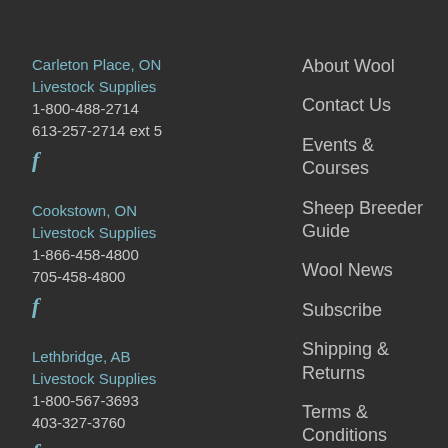Carleton Place, ON
Livestock Supplies
1-800-488-2714
613-257-2714 ext 5
f
Cookstown, ON
Livestock Supplies
1-866-458-4800
705-458-4800
f
Lethbridge, AB
Livestock Supplies
1-800-567-3693
403-327-3760
f
About Wool
Contact Us
Events & Courses
Sheep Breeder Guide
Wool News
Subscribe
Shipping & Returns
Terms & Conditions